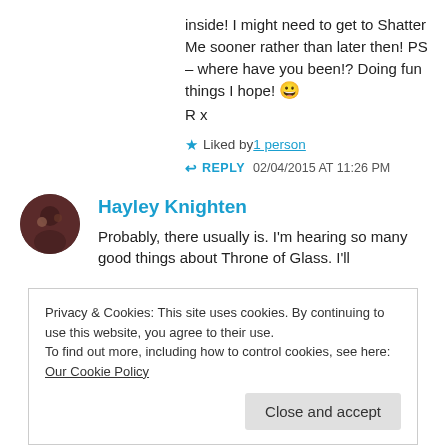inside! I might need to get to Shatter Me sooner rather than later then! PS – where have you been!? Doing fun things I hope! 😀 R x
★ Liked by 1 person
↩ REPLY  02/04/2015 AT 11:26 PM
Hayley Knighten
Probably, there usually is. I'm hearing so many good things about Throne of Glass. I'll
Privacy & Cookies: This site uses cookies. By continuing to use this website, you agree to their use.
To find out more, including how to control cookies, see here: Our Cookie Policy
Close and accept
me again and I missed all my wp friends and